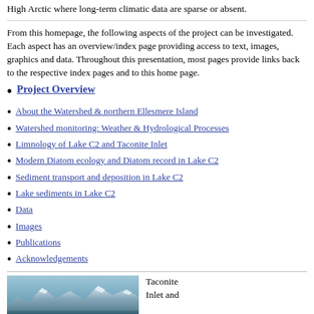High Arctic where long-term climatic data are sparse or absent.
From this homepage, the following aspects of the project can be investigated. Each aspect has an overview/index page providing access to text, images, graphics and data. Throughout this presentation, most pages provide links back to the respective index pages and to this home page.
Project Overview
About the Watershed & northern Ellesmere Island
Watershed monitoring: Weather & Hydrological Processes
Limnology of Lake C2 and Taconite Inlet
Modern Diatom ecology and Diatom record in Lake C2
Sediment transport and deposition in Lake C2
Lake sediments in Lake C2
Data
Images
Publications
Acknowledgements
[Figure (photo): Panoramic mountain landscape with snow-capped peaks, labeled Taconite Inlet and...]